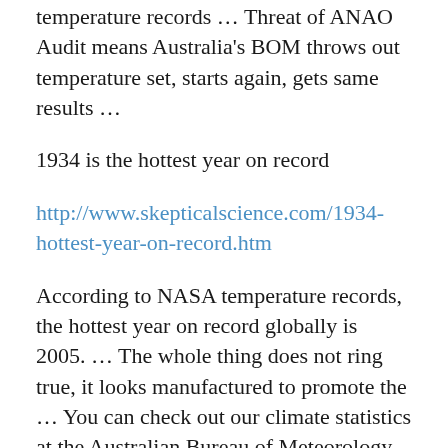temperature records … Threat of ANAO Audit means Australia's BOM throws out temperature set, starts again, gets same results …
1934 is the hottest year on record
http://www.skepticalscience.com/1934-hottest-year-on-record.htm
According to NASA temperature records, the hottest year on record globally is 2005. … The whole thing does not ring true, it looks manufactured to promote the … You can check out our climate statistics at the Australian Bureau of Meteorology. … followed by a sudden dip), but then start to rise again quite quickly-in spite of …